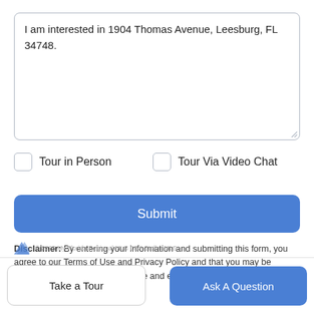I am interested in 1904 Thomas Avenue, Leesburg, FL 34748.
Tour in Person
Tour Via Video Chat
Submit
Disclaimer: By entering your information and submitting this form, you agree to our Terms of Use and Privacy Policy and that you may be contacted by phone, text message and email about your inquiry.
Take a Tour
Ask A Question